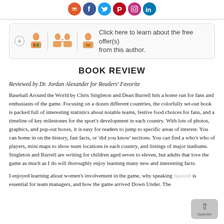[Figure (other): Social media icons row: email (orange), Facebook (blue), Twitter (light blue), Pinterest (red), Instagram (pink), LinkedIn (blue)]
[Figure (infographic): Offer box with plus icon, two reader/author icons separated by a divider, and text: Click here to learn about the free offer(s) from this author.]
BOOK REVIEW
Reviewed by Dr. Jordan Alexander for Readers' Favorite
Baseball Around the World by Chris Singleton and Dean Burrell hits a home run for fans and enthusiasts of the game. Focusing on a dozen different countries, the colorfully set-out book is packed full of interesting statistics about notable teams, festive food choices for fans, and a timeline of key milestones for the sport's development in each country. With lots of photos, graphics, and pop-out boxes, it is easy for readers to jump to specific areas of interest. You can home in on the history, fast facts, or 'did you know' sections. You can find a who's who of players, mini maps to show team locations in each country, and listings of major stadiums. Singleton and Burrell are writing for children aged seven to eleven, but adults that love the game as much as I do will thoroughly enjoy learning many new and interesting facts.
I enjoyed learning about women's involvement in the game, why speaking Spanish is essential for team managers, and how the game arrived Down Under. The